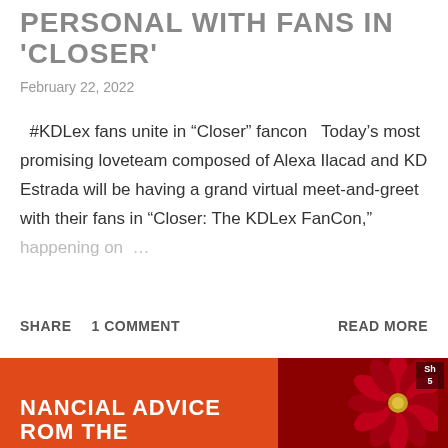PERSONAL WITH FANS IN 'CLOSER'
February 22, 2022
#KDLex fans unite in “Closer” fancon  Today’s most promising loveteam composed of Alexa Ilacad and KD Estrada will be having a grand virtual meet-and-greet with their fans in “Closer: The KDLex FanCon,” happening on ...
SHARE   1 COMMENT                                READ MORE
[Figure (photo): Advertisement banner with orange background on the left and dark red background with decorative red snowflake/pinwheel ornament on the right. White bold text partially visible reading 'NANCIAL ADVICE' and 'ROM THE'. A small badge labeled 'Sh 5' is visible at top right.]